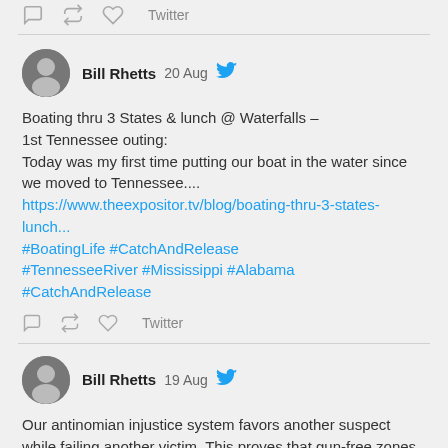[Figure (screenshot): Twitter action icons (reply, retweet, like) and Twitter label at top]
[Figure (screenshot): Tweet by Bill Rhetts dated 20 Aug with avatar and Twitter bird icon]
Boating thru 3 States & lunch @ Waterfalls – 1st Tennessee outing:
Today was my first time putting our boat in the water since we moved to Tennessee....
https://www.theexpositor.tv/blog/boating-thru-3-states-lunch...
#BoatingLife #CatchAndRelease #TennesseeRiver #Mississippi #Alabama #CatchAndRelease
[Figure (screenshot): Tweet action icons (reply, retweet, like) and Twitter label below first tweet]
[Figure (screenshot): Tweet by Bill Rhetts dated 19 Aug with avatar and Twitter bird icon]
Our antinomian injustice system favors another suspect while failing another victim. This proves that gun-free zones and gun restrictions do not help, they hurt. This man